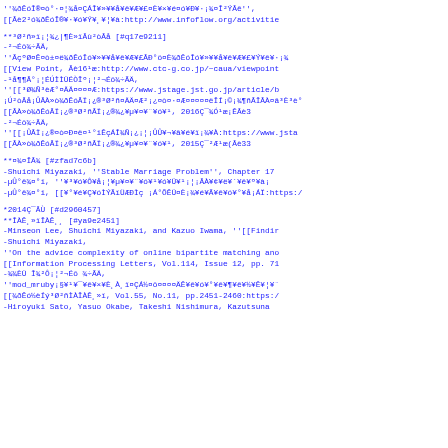''¾ðÊóÎ®¤ò°·¤¦¾å¤ÇÁÎ¥»¥¥å¥ê¥Æ¥£¤È¥×¥é¤ó¥Ð¥·¡¾¤Î²ÝÂê'', [[Âè2²ó¾ðÊóÎ®¥·¥ó¥Ý¥¸¥¦¥à:http://www.infoflow.org/activitie
**³Ø²ñ»ï¡¦¾¿|¶È»ïÂù²òÂå [#q17e9211]
-²¬Éô¾÷ÃÄ,
''ÃçºØ¤Ê¤ò±¤ë¾ðÊóÎó¥»¥¥å¥ê¥Æ¥£ÂÐ°ö¤È¾ðÊóÎó¥»¥¥å¥ê¥Æ¥£¥Ý¥ê¥·¡¾
[[View Point, Âè16¹æ:http://www.ctc-g.co.jp/~caua/viewpoint
-¹å¶¶Â°¡¦ÉÚÌÌÜÉÒÎº¡¦²¬Éô¾÷ÃÄ,
''[[³Ø¾Ñ³èÆ°¤ÄÄ¤¤¤¤Æ:https://www.jstage.jst.go.jp/article/b
¡Ú²òÂå¡ÛÂÀ»ò¾ðÊóÂÏ¡¿®³Ø²ñ¤ÄÄ¤Æ²¡¿¤ò¤·¤Æ¤¤¤¤¤ëÎÍ¡©¡¾¶ñÂÎÂÀ¤â³È³è°
[[ÂÀ»ò¾ðÊóÂÏ¡¿®³Ø²ñÂÏ¡¿®¾¿¥µ¥¤¥¨¥ó¥¹, 2016Ç¯¾Ó¹æ¡ÊÂè3
-²¬Éô¾÷ÃÄ,
''[[¡ÛÂÏ¡¿®¤ò¤Ð¤ë¤¹°ïÊçÁÎ¾Ñ¡¿¡¦¡ÛÛ¥¬¥â¥é¥ï¡¾¥À:https://www.jsta
[[ÂÀ»ò¾ðÊóÂÏ¡¿®³Ø²ñÂÏ¡¿®¾¿¥µ¥¤¥¨¥ó¥¹, 2015Ç¯²Æ¹æ(Âè33
**¤¾¤ÎÂ¾ [#zfad7c6b]
-Shuichi Miyazaki, ''Stable Marriage Problem'', Chapter 17
-µÛ°ê¾¤°ï, ''¥³¥ó¥Ô¥å¡¦¥µ¥¤¥¨¥ó¥¹¥ó¥Ü¥¹¡¦¡ÂÀ¥¢¥ë¥´¥ê¥º¥à¡
-µÛ°ê¾¤°ï, [[¥°¥é¥Ç¥óÌÝÃïÜÆÐÌç ¡Á°ÕÊÜ¤È¡¾¥é¥Ã¥ê¥ó¥°¥å¡ÁÏ:https:/
*2014Ç¯ÂÙ [#d2960457]
**ÎÀÊ¸»ïÎÀÊ¸¸ [#ya9e2451]
-Minseon Lee, Shuichi Miyazaki, and Kazuo Iwama, ''[[Findir
-Shuichi Miyazaki,
''On the advice complexity of online bipartite matching ano
[[Information Processing Letters, Vol.114, Issue 12, pp. 71
-¾¾ÈÜ Î¾²Ô¡¦²¬Éô ¾÷ÃÄ,
''mod_mruby¡§¥¹¥¯¥ê¥×¥È¸À¸ï¤ÇÁ½¤ô¤¤¤¤ÄÊ¥ê¥ó¥°¥ê¥¶¥ê¥½¥Ê¥¦¥¨
[[¾ðÊó½èÍý³Ø²ñÌÀÎÀÊ¸»ï, Vol.55, No.11, pp.2451-2460:https:/
-Hiroyuki Sato, Yasuo Okabe, Takeshi Nishimura, Kazutsuna